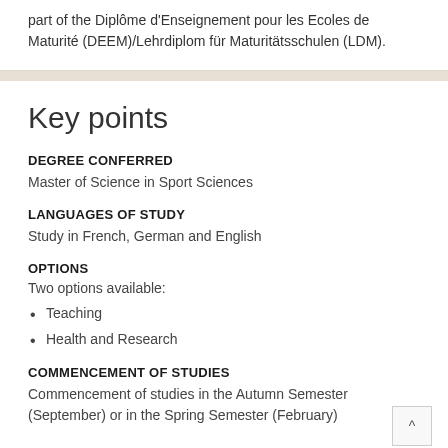part of the Diplôme d'Enseignement pour les Ecoles de Maturité (DEEM)/Lehrdiplom für Maturitätsschulen (LDM).
Key points
DEGREE CONFERRED
Master of Science in Sport Sciences
LANGUAGES OF STUDY
Study in French, German and English
OPTIONS
Two options available:
Teaching
Health and Research
COMMENCEMENT OF STUDIES
Commencement of studies in the Autumn Semester (September) or in the Spring Semester (February)